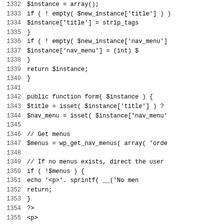Code listing lines 1332–1363 showing PHP source code for a WordPress widget update and form functions.